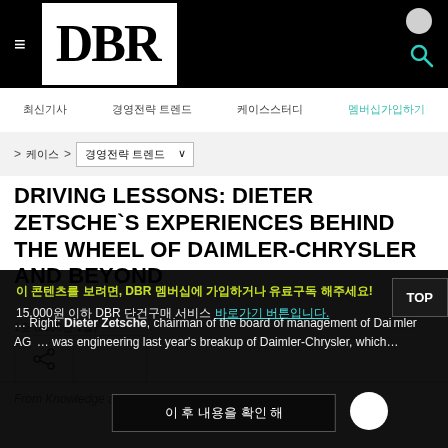DBR
최신기사 | 경영전략 트렌드 | 케이스스터디 | 멤버십가입하기
> 케이스 > 경영전략 트렌드 ∨
DRIVING LESSONS: DIETER ZETSCHE`S EXPERIENCES BEHIND THE WHEEL OF DAIMLER-CHRYSLER AND BEYOND
1호 (2008년 1월)
From Knowledge at Wharton
이 콘텐츠를 보려면, DBR 멤버십에 가입하거나 유료구독 해주세요!
15,000원 이하 DBR 단건구매 서비스 입니다.
Right: Dieter Zetsche, chairman of the board of management of Daimler AG … was engineering last year's breakup of Daimler-Chrysler, which…